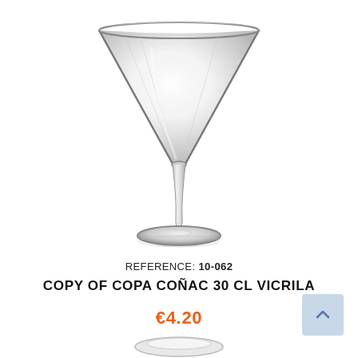[Figure (photo): A clear martini/cognac glass (Copa Coñac) with a wide conical bowl, thin stem, and round base, photographed on white background]
REFERENCE: 10-062
COPY OF COPA COÑAC 30 CL VICRILA
€4.20